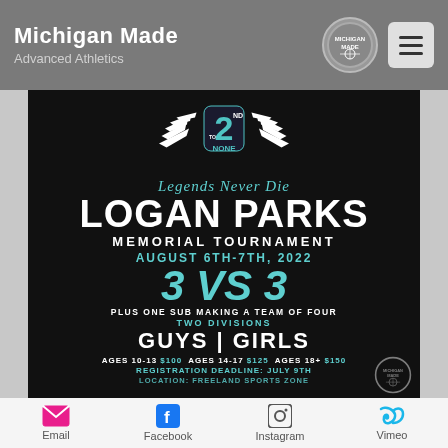Michigan Made Advanced Athletics
[Figure (infographic): 2nd to None tournament promotional poster for Logan Parks Memorial Tournament. Features winged logo, event details: August 6th-7th 2022, 3 vs 3 basketball, plus one sub making a team of four, two divisions: Guys and Girls. Ages 10-13 $100, Ages 14-17 $125, Ages 18+ $150. Registration deadline: July 9th. Location: Freeland Sports Zone.]
Email  Facebook  Instagram  Vimeo